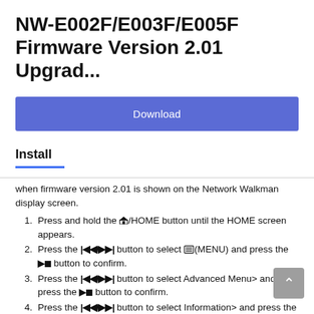NW-E002F/E003F/E005F Firmware Version 2.01 Upgrad...
Download
Install
when firmware version 2.01 is shown on the Network Walkman display screen.
1. Press and hold the [HOME icon]/HOME button until the HOME screen appears.
2. Press the [|<</>>/|] button to select [MENU icon](MENU) and press the [>-| ] button to confirm.
3. Press the [|<</>>/|] button to select Advanced Menu> and press the [>-|] button to confirm.
4. Press the [|<</>>/|] button to select Information> and press the [>-|] button to confirm.
5. Press the [|<</>>/|] button to show [ 4: version information